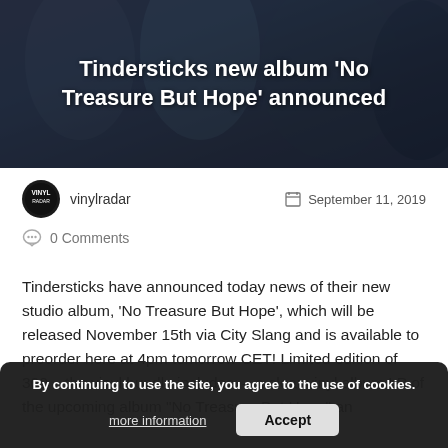[Figure (photo): Hero image of Tindersticks band members with dark blue-grey tones, overlaid with white bold title text]
Tindersticks new album 'No Treasure But Hope' announced
vinylradar
September 11, 2019
0 Comments
Tindersticks have announced today news of their new studio album, 'No Treasure But Hope', which will be released November 15th via City Slang and is available to preorder here at 4pm tomorrow CET! Limited edition of 300 – the vinyl bundle includes: – a clear vinyl album LP of the upcoming album "No Treasure But Hope" an
By continuing to use the site, you agree to the use of cookies.
more information
Accept
Read More